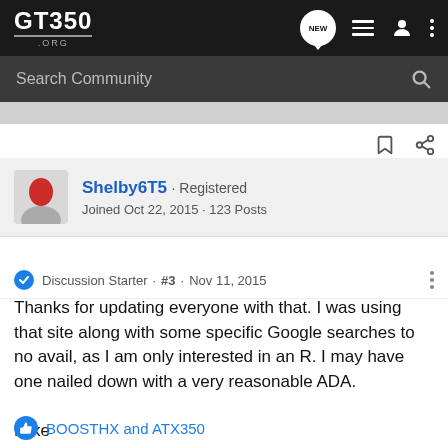GT350.org
Search Community
Shelby6T5 · Registered
Joined Oct 22, 2015 · 123 Posts
Discussion Starter · #3 · Nov 11, 2015
Thanks for updating everyone with that. I was using that site along with some specific Google searches to no avail, as I am only interested in an R. I may have one nailed down with a very reasonable ADA.

Mike
BOOSTHX and ATX350